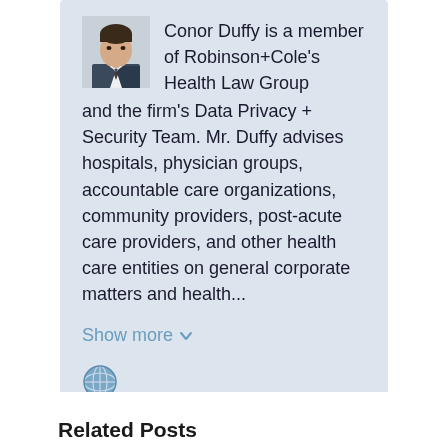[Figure (photo): Headshot of Conor Duffy, a man in a suit and tie, black and white or muted tone photo]
Conor Duffy is a member of Robinson+Cole's Health Law Group and the firm's Data Privacy + Security Team. Mr. Duffy advises hospitals, physician groups, accountable care organizations, community providers, post-acute care providers, and other health care entities on general corporate matters and health...
Show more ∨
[Figure (illustration): Globe/world icon in blue-gray color]
Related Posts
New York State Legislature Passes Act Enacting Moratorium on For-Profit Hospices